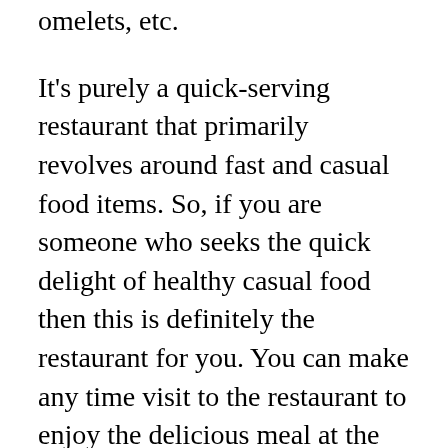omelets, etc.
It's purely a quick-serving restaurant that primarily revolves around fast and casual food items. So, if you are someone who seeks the quick delight of healthy casual food then this is definitely the restaurant for you. You can make any time visit to the restaurant to enjoy the delicious meal at the restaurant.
Eggslut Hours [Working Day Hours]
When we talk about the Eggslut hours then we are basically referring to its opening/closing and the holiday hours. These hours are significant as they imply the day-